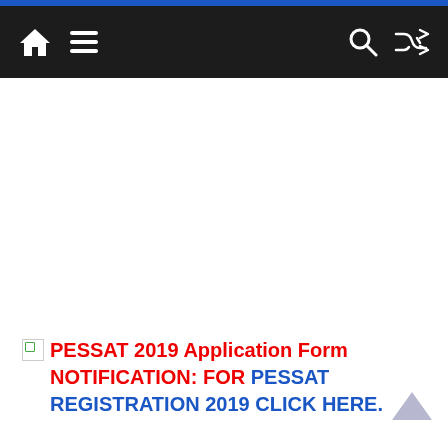Navigation bar with home, menu, search, and shuffle icons
PESSAT 2019 Application Form NOTIFICATION: FOR PESSAT REGISTRATION 2019 CLICK HERE.